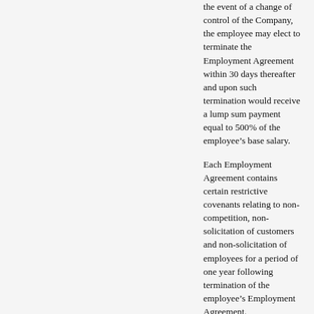the event of a change of control of the Company, the employee may elect to terminate the Employment Agreement within 30 days thereafter and upon such termination would receive a lump sum payment equal to 500% of the employee’s base salary.
Each Employment Agreement contains certain restrictive covenants relating to non-competition, non-solicitation of customers and non-solicitation of employees for a period of one year following termination of the employee’s Employment Agreement.